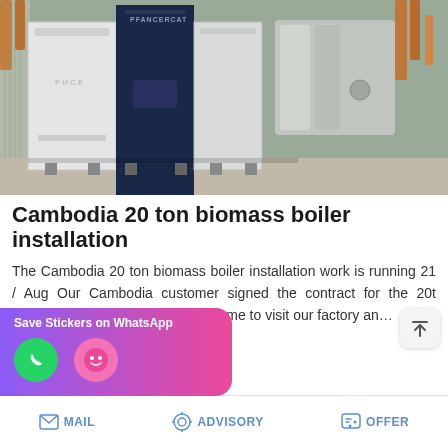[Figure (photo): Industrial biomass boiler installation inside a factory — white and dark-navy vertical boiler units with cylindrical pressure vessel and copper/steel piping visible in background]
Cambodia 20 ton biomass boiler installation
The Cambodia 20 ton biomass boiler installation work is running 21 / Aug Our Cambodia customer signed the contract for the 20t biomass boiler in February. The came to visit our factory an…
[Figure (screenshot): WhatsApp sticker saver app promotion popup with purple-to-pink gradient background, phone icon and smiley icon]
MAIL   ADVISORY   OFFER